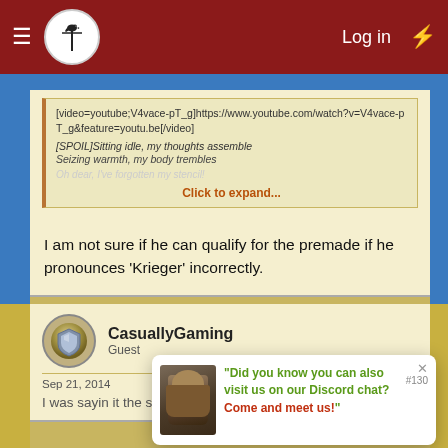Log in
[video=youtube;V4vace-pT_g]https://www.youtube.com/watch?v=V4vace-pT_g&amp;feature=youtu.be[/video]
[SPOIL]Sitting idle, my thoughts assemble
Seizing warmth, my body trembles
Oh dear, I've forgotten my stencil!
Click to expand...
I am not sure if he can qualify for the premade if he pronounces 'Krieger' incorrectly.
CasuallyGaming
Guest
Sep 21, 2014
I was sayin it the same way as him :x
Did you know you can also visit us on our Discord chat? Come and meet us!